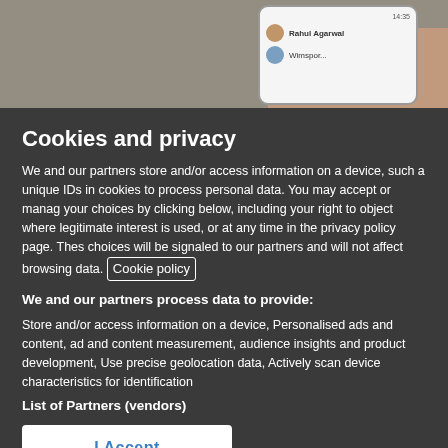[Figure (screenshot): Photo strip showing hands holding a smartphone with a messaging app visible on screen, showing contact names including Rahul Agarwal]
Cookies and privacy
We and our partners store and/or access information on a device, such a unique IDs in cookies to process personal data. You may accept or manage your choices by clicking below, including your right to object where legitimate interest is used, or at any time in the privacy policy page. These choices will be signaled to our partners and will not affect browsing data. Cookie policy
We and our partners process data to provide:
Store and/or access information on a device, Personalised ads and content, ad and content measurement, audience insights and product development, Use precise geolocation data, Actively scan device characteristics for identification
List of Partners (vendors)
I Accept